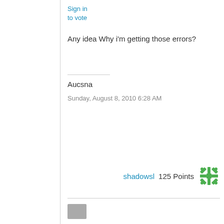Sign in
to vote
Any idea Why i'm getting those errors?
Aucsna
Sunday, August 8, 2010 6:28 AM
shadowsl  125 Points